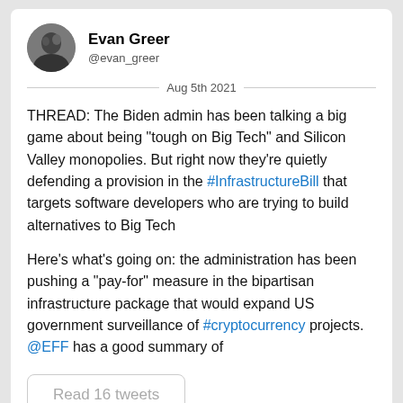Evan Greer @evan_greer
Aug 5th 2021
THREAD: The Biden admin has been talking a big game about being "tough on Big Tech" and Silicon Valley monopolies. But right now they're quietly defending a provision in the #InfrastructureBill that targets software developers who are trying to build alternatives to Big Tech
Here's what's going on: the administration has been pushing a "pay-for" measure in the bipartisan infrastructure package that would expand US government surveillance of #cryptocurrency projects. @EFF has a good summary of
Read 16 tweets